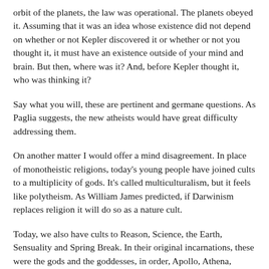orbit of the planets, the law was operational. The planets obeyed it. Assuming that it was an idea whose existence did not depend on whether or not Kepler discovered it or whether or not you thought it, it must have an existence outside of your mind and brain. But then, where was it? And, before Kepler thought it, who was thinking it?
Say what you will, these are pertinent and germane questions. As Paglia suggests, the new atheists would have great difficulty addressing them.
On another matter I would offer a mind disagreement. In place of monotheistic religions, today's young people have joined cults to a multiplicity of gods. It's called multiculturalism, but it feels like polytheism. As William James predicted, if Darwinism replaces religion it will do so as a nature cult.
Today, we also have cults to Reason, Science, the Earth, Sensuality and Spring Break. In their original incarnations, these were the gods and the goddesses, in order, Apollo, Athena, Demeter, Aphrodite and Dionysius. If you would like to have a cult to the female victim of a predatory patriarchal male, try Persephone.